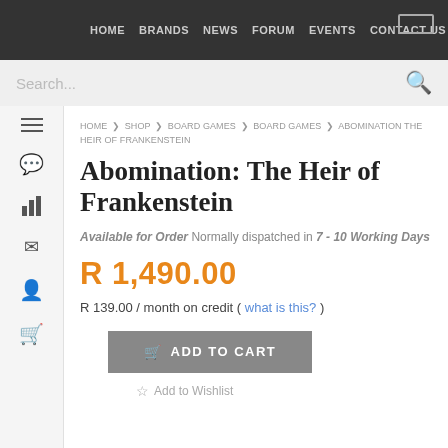HOME   BRANDS   NEWS   FORUM   EVENTS   CONTACT US
Search...
HOME > SHOP > BOARD GAMES > BOARD GAMES > ABOMINATION THE HEIR OF FRANKENSTEIN
Abomination: The Heir of Frankenstein
Available for Order Normally dispatched in 7 - 10 Working Days
R 1,490.00
R 139.00 / month on credit ( what is this? )
ADD TO CART
Add to Wishlist